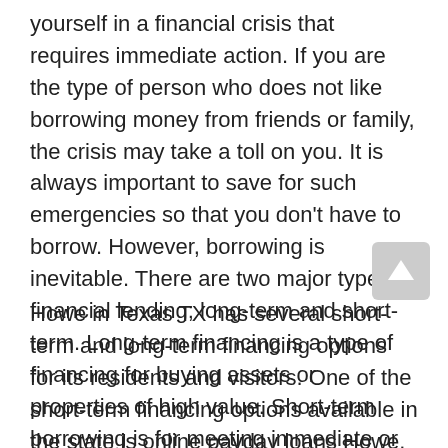yourself in a financial crisis that requires immediate action. If you are the type of person who does not like borrowing money from friends or family, the crisis may take a toll on you. It is always important to save for such emergencies so that you don't have to borrow. However, borrowing is inevitable. There are two major types of financial lending; long-term and short-term. Long-term financing is a type of financing for buying assets or properties of high value. Short-term borrowing is for meeting immediate or emergency needs and should be repaid within a short period.
Howe in Texas TX has several short-term and long-term financing options for its residents and visitors. One of the short-term financing options available in the state is online payday loans Howe. A payday loan is an instant short-term unsecured credit that can help you to cover an emergency as you await your paycheck of traditional bank loans. These loans are typically processed within the shortest